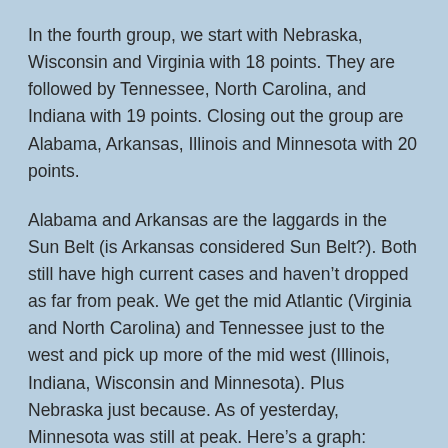In the fourth group, we start with Nebraska, Wisconsin and Virginia with 18 points. They are followed by Tennessee, North Carolina, and Indiana with 19 points. Closing out the group are Alabama, Arkansas, Illinois and Minnesota with 20 points.
Alabama and Arkansas are the laggards in the Sun Belt (is Arkansas considered Sun Belt?). Both still have high current cases and haven't dropped as far from peak. We get the mid Atlantic (Virginia and North Carolina) and Tennessee just to the west and pick up more of the mid west (Illinois, Indiana, Wisconsin and Minnesota). Plus Nebraska just because. As of yesterday, Minnesota was still at peak. Here's a graph: